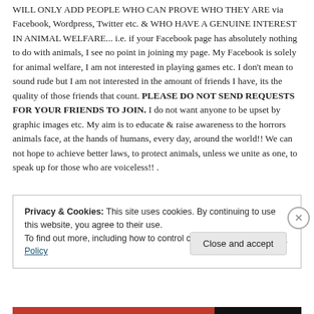WILL ONLY ADD PEOPLE WHO CAN PROVE WHO THEY ARE via Facebook, Wordpress, Twitter etc. & WHO HAVE A GENUINE INTEREST IN ANIMAL WELFARE... i.e. if your Facebook page has absolutely nothing to do with animals, I see no point in joining my page. My Facebook is solely for animal welfare, I am not interested in playing games etc. I don't mean to sound rude but I am not interested in the amount of friends I have, its the quality of those friends that count. PLEASE DO NOT SEND REQUESTS FOR YOUR FRIENDS TO JOIN. I do not want anyone to be upset by graphic images etc. My aim is to educate & raise awareness to the horrors animals face, at the hands of humans, every day, around the world!! We can not hope to achieve better laws, to protect animals, unless we unite as one, to speak up for those who are voiceless!! .
Privacy & Cookies: This site uses cookies. By continuing to use this website, you agree to their use.
To find out more, including how to control cookies, see here: Cookie Policy
Close and accept